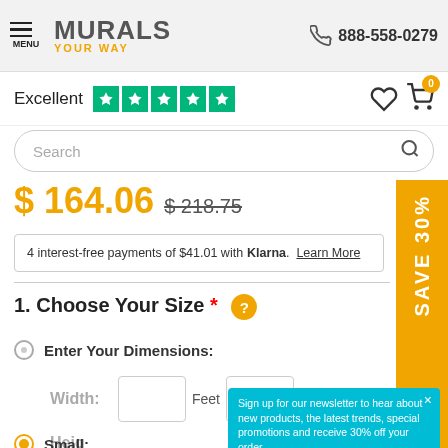MURALS YOUR WAY — 888-558-0279
Excellent ★★★★★
Search
$ 164.06  $218.75
4 interest-free payments of $41.01 with Klarna. Learn More
1. Choose Your Size *
Enter Your Dimensions:
Width: Feet Inches
Height:
Small:
Sign up for our newsletter to hear about new products, the latest trends, special promotions and receive 30% off your order.
Sign Up
No thanks